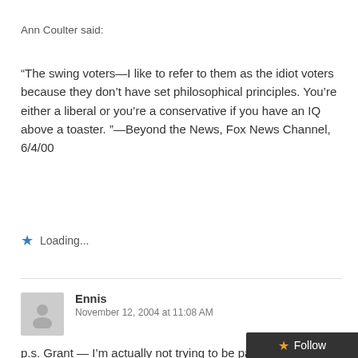Ann Coulter said:
“The swing voters—I like to refer to them as the idiot voters because they don’t have set philosophical principles. You’re either a liberal or you’re a conservative if you have an IQ above a toaster. ”—Beyond the News, Fox News Channel, 6/4/00
Loading...
Ennis
November 12, 2004 at 11:08 AM
p.s. Grant — I’m actually not trying to be partisan, I’m just too frazzled these days to do a good job framing my rem